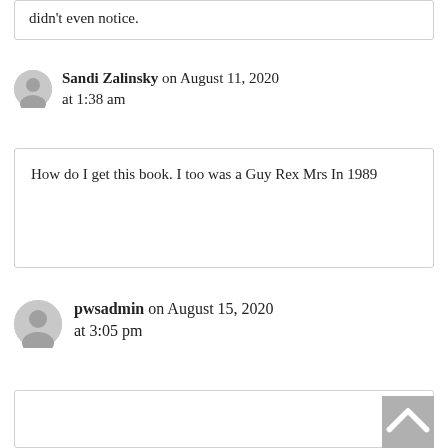didn't even notice.
Sandi Zalinsky on August 11, 2020 at 1:38 am
How do I get this book. I too was a Guy Rex Mrs In 1989
pwsadmin on August 15, 2020 at 3:05 pm